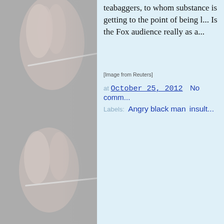[Figure (photo): Background photo of hands holding medical needles/scalpels, gray toned]
teabaggers, to whom substance is getting to the point of being k... Is the Fox audience really as a...
[Image from Reuters]
at October 25, 2012   No comm...
Labels: Angry black man  insult...
Who Is This Guy?